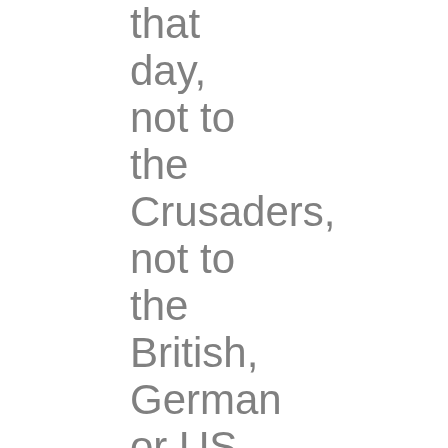that day, not to the Crusaders, not to the British, German or US Armies - but to the Australian Light Horsemen!

Let me quote from the book "True